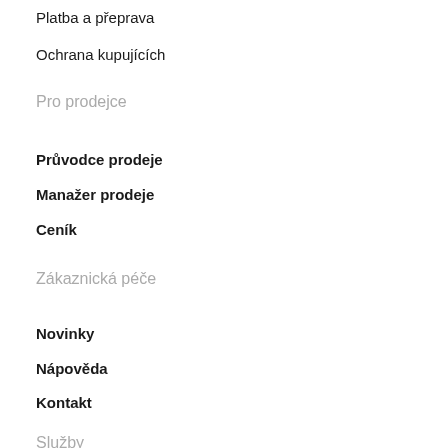Platba a přeprava
Ochrana kupujících
Pro prodejce
Průvodce prodeje
Manažer prodeje
Ceník
Zákaznická péče
Novinky
Nápověda
Kontakt
Služby
Aukrobot
Aukro Expert